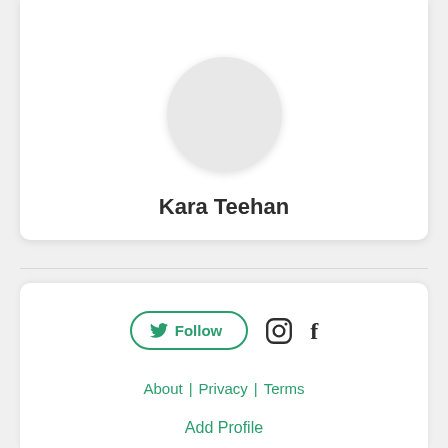[Figure (photo): Circular profile avatar placeholder, light gray circle]
Kara Teehan
[Figure (infographic): Social media action row: Twitter Follow button (outlined, green), Instagram icon, Facebook icon]
About | Privacy | Terms
Add Profile